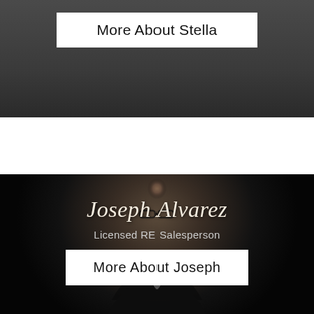More About Stella
[Figure (photo): Portrait photo of Joseph Alvarez, a young man in a dark suit with glasses, smiling, against a dark background. Name 'Joseph Alvarez' and title 'Licensed RE Salesperson' are overlaid on the photo.]
Joseph Alvarez
Licensed RE Salesperson
More About Joseph